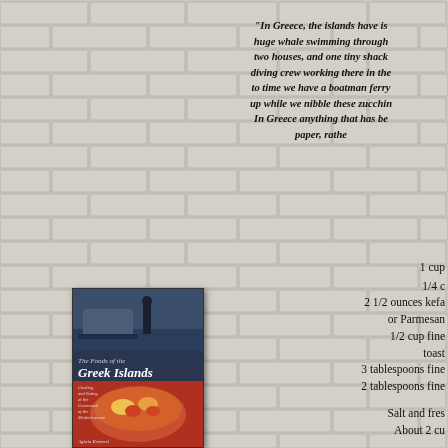"In Greece, the islands have is... huge whale swimming through... two houses, and one tiny shack... diving crew working there in the... to time we have a boatman ferry... up while we nibble these zucchin... In Greece anything that has be... paper, rathe..."
1 cup
1/4 c
2 1/2 ounces kefa...
or Parmesan...
1/2 cup fine...
toast...
3 tablespoons fine...
2 tablespoons fine...
Salt and fres...
About 2 cu...
[Figure (photo): Book cover of 'The Foods of the Greek Islands' showing a fishing boat scene on top and a bowl of food (seafood/stew) on the bottom, with subtitle text 'Cooking and Eating at the Crossroads of the Mediterranean' and author name Aglaia Kremezi]